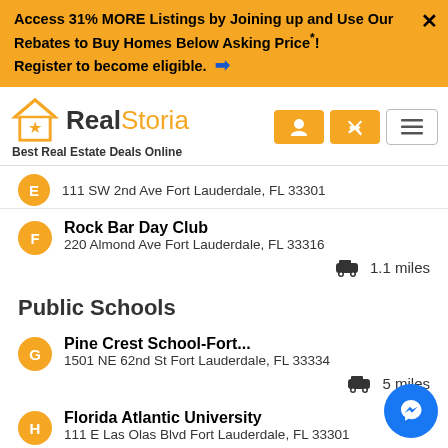Access 31% MORE Listings by Joining up and Use Our Rebates to Buy Homes Below Asking Price*! Register to become eligible.
[Figure (logo): RealStoria logo with house icon and text 'Best Real Estate Deals Online']
111 SW 2nd Ave Fort Lauderdale, FL 33301
Rock Bar Day Club
220 Almond Ave Fort Lauderdale, FL 33316
1.1 miles
Public Schools
Pine Crest School-Fort...
1501 NE 62nd St Fort Lauderdale, FL 33334
5 miles
Florida Atlantic University
111 E Las Olas Blvd Fort Lauderdale, FL 33301
1.9 miles